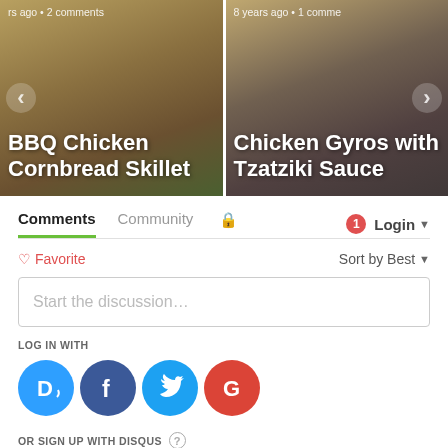[Figure (screenshot): Carousel with two recipe cards: 'BBQ Chicken Cornbread Skillet' (rs ago • 2 comments) and 'Chicken Gyros with Tzatziki Sauce' (8 years ago • 1 comment), with left and right navigation arrows]
Comments  Community  🔒  1  Login ▾
♡ Favorite   Sort by Best ▾
Start the discussion...
LOG IN WITH
[Figure (logo): Social login icons: Disqus (blue D), Facebook (dark blue f), Twitter (light blue bird), Google (red G)]
OR SIGN UP WITH DISQUS ?
Name